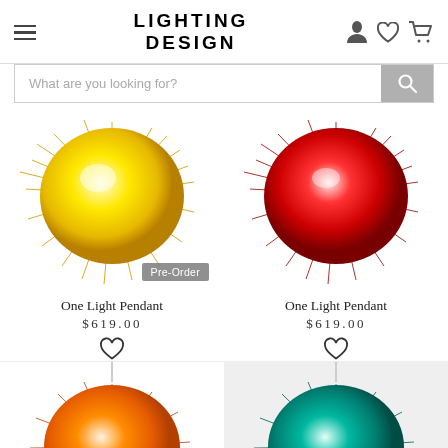LIGHTING DESIGN
What are you looking for?
[Figure (photo): Yellow spiky pom-pom pendant light with Pre-Order badge]
Pre-Order
One Light Pendant
$619.00
[Figure (photo): Red spiky pom-pom pendant light]
One Light Pendant
$619.00
[Figure (photo): Orange spiky pom-pom pendant light, partially visible at bottom]
[Figure (photo): Teal/turquoise spiky pom-pom pendant light, partially visible at bottom right]